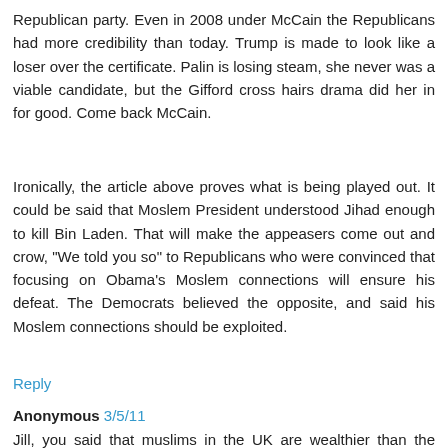Republican party. Even in 2008 under McCain the Republicans had more credibility than today. Trump is made to look like a loser over the certificate. Palin is losing steam, she never was a viable candidate, but the Gifford cross hairs drama did her in for good. Come back McCain.
Ironically, the article above proves what is being played out. It could be said that Moslem President understood Jihad enough to kill Bin Laden. That will make the appeasers come out and crow, "We told you so" to Republicans who were convinced that focusing on Obama's Moslem connections will ensure his defeat. The Democrats believed the opposite, and said his Moslem connections should be exploited.
Reply
Anonymous 3/5/11
Jill, you said that muslims in the UK are wealthier than the average Brit.